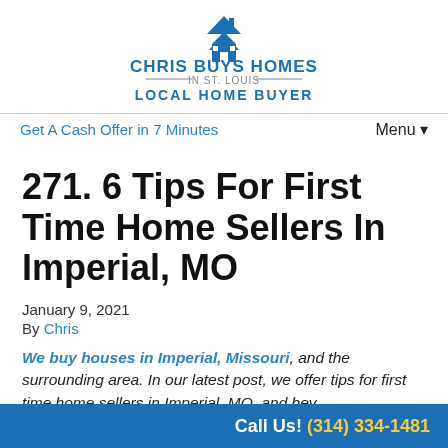[Figure (logo): Chris Buys Homes In St. Louis - Local Home Buyer logo with house icon]
Get A Cash Offer in 7 Minutes   Menu▼
271. 6 Tips For First Time Home Sellers In Imperial, MO
January 9, 2021
By Chris
We buy houses in Imperial, Missouri, and the surrounding area. In our latest post, we offer tips for first time home sellers in Imperial, MO, and beyond. Fin…
Call Us! (314) 334-1481